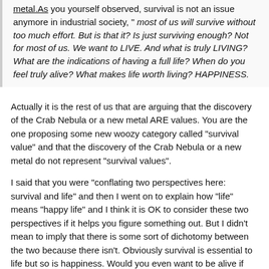metal.As you yourself observed, survival is not an issue anymore in industrial society, " most of us will survive without too much effort. But is that it? Is just surviving enough? Not for most of us. We want to LIVE. And what is truly LIVING? What are the indications of having a full life? When do you feel truly alive? What makes life worth living? HAPPINESS.
Actually it is the rest of us that are arguing that the discovery of the Crab Nebula or a new metal ARE values. You are the one proposing some new woozy category called "survival value" and that the discovery of the Crab Nebula or a new metal do not represent "survival values".
I said that you were "conflating two perspectives here: survival and life" and then I went on to explain how "life" means "happy life" and I think it is OK to consider these two perspectives if it helps you figure something out. But I didn't mean to imply that there is some sort of dichotomy between the two because there isn't. Obviously survival is essential to life but so is happiness. Would you even want to be alive if happiness wasn't possible?